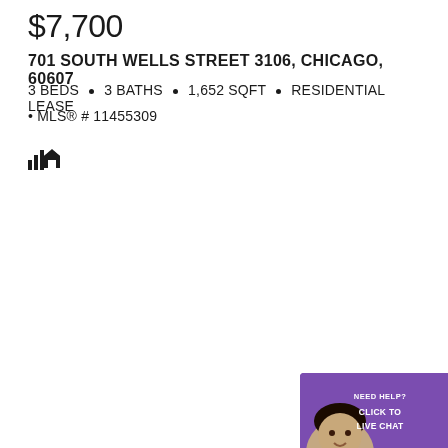$7,700
701 SOUTH WELLS STREET 3106, CHICAGO, 60607
3 BEDS • 3 BATHS • 1,652 SQFT • RESIDENTIAL LEASE
• MLS® # 11455309
[Figure (illustration): Small house icon with signal bars]
[Figure (other): Live chat widget with agent photo, purple background, text NEED HELP? CLICK TO LIVE CHAT]